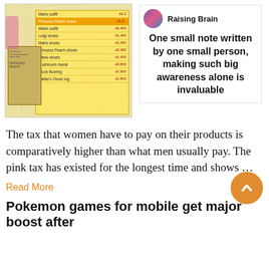[Figure (screenshot): Screenshot of a game (Animal Crossing) showing Mario-themed items in a shop menu, alongside a clipboard with handwritten notes]
[Figure (screenshot): Social media card from 'Raising Brain' with text: One small note written by one small person, making such big awareness alone is invaluable]
The tax that women have to pay on their products is comparatively higher than what men usually pay. The pink tax has existed for the longest time and shows …
Read More
Pokemon games for mobile get major boost after